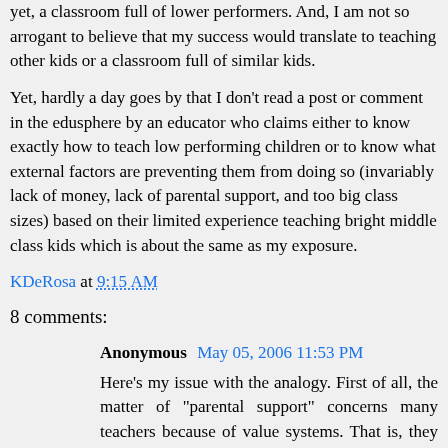yet, a classroom full of lower performers. And, I am not so arrogant to believe that my success would translate to teaching other kids or a classroom full of similar kids.
Yet, hardly a day goes by that I don't read a post or comment in the edusphere by an educator who claims either to know exactly how to teach low performing children or to know what external factors are preventing them from doing so (invariably lack of money, lack of parental support, and too big class sizes) based on their limited experience teaching bright middle class kids which is about the same as my exposure.
KDeRosa at 9:15 AM
8 comments:
Anonymous May 05, 2006 11:53 PM
Here's my issue with the analogy. First of all, the matter of "parental support" concerns many teachers because of value systems. That is, they get fed one set of values at school (to value learning and education, one would hope)